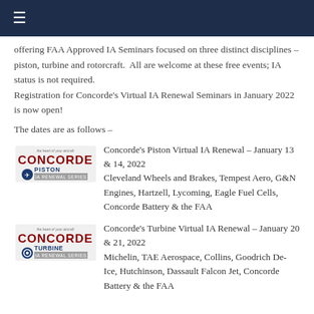≡
offering FAA Approved IA Seminars focused on three distinct disciplines – piston, turbine and rotorcraft.  All are welcome at these free events; IA status is not required.
Registration for Concorde's Virtual IA Renewal Seminars in January 2022 is now open!
The dates are as follows –
[Figure (logo): Concorde Piston IA Renewal Series logo with red CONCORDE text and blue propeller icon]
Concorde's Piston Virtual IA Renewal – January 13 & 14, 2022
Cleveland Wheels and Brakes, Tempest Aero, G&N Engines, Hartzell, Lycoming, Eagle Fuel Cells, Concorde Battery & the FAA
[Figure (logo): Concorde Turbine IA Renewal Series logo with red CONCORDE text and blue turbine icon]
Concorde's Turbine Virtual IA Renewal – January 20 & 21, 2022
Michelin, TAE Aerospace, Collins, Goodrich De-Ice, Hutchinson, Dassault Falcon Jet, Concorde Battery & the FAA